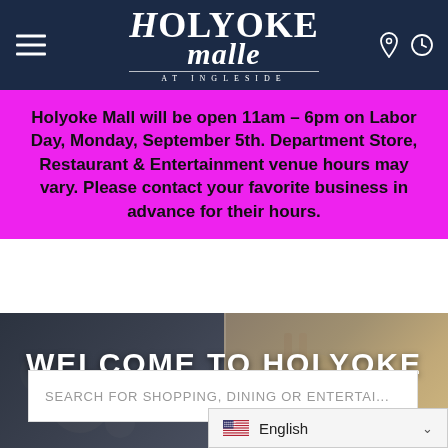Holyoke Mall at Ingleside — navigation header
Holyoke Mall will be open 11am – 6pm on Labor Day, Monday, September 5th. Department Store, Restaurant & Entertainment venue hours may vary. Please contact your favorite business in advance for their hours.
WELCOME TO HOLYOKE MALL
[Figure (screenshot): Search bar reading 'SEARCH FOR SHOPPING, DINING OR ENTERTAI...' on top of a hero image split between a jewelry/charm photo on the left and sushi photo on the right]
English